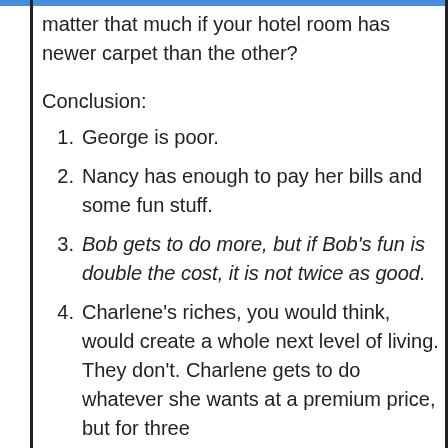matter that much if your hotel room has newer carpet than the other?
Conclusion:
1.  George is poor.
2.  Nancy has enough to pay her bills and some fun stuff.
3.  Bob gets to do more, but if Bob's fun is double the cost, it is not twice as good.
4. Charlene's riches, you would think, would create a whole next level of living. They don't. Charlene gets to do whatever she wants at a premium price, but for three